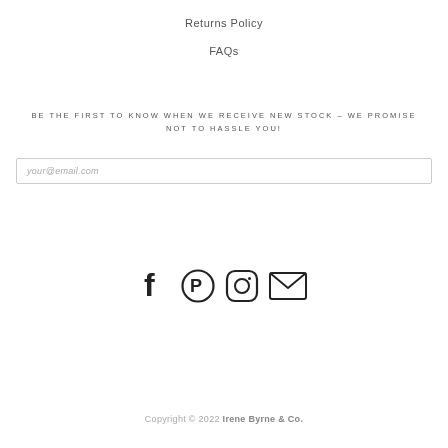Returns Policy
FAQs
BE THE FIRST TO KNOW WHEN WE RECEIVE NEW STOCK – WE PROMISE NOT TO HASSLE YOU!
your@email.com
[Figure (infographic): Social media icons: Facebook, Pinterest, Instagram, Email]
Copyright © 2022 Irene Byrne & Co.